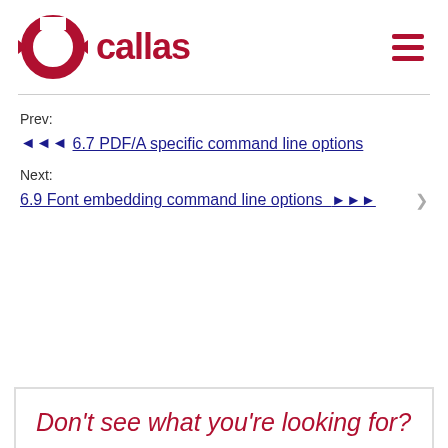[Figure (logo): Callas software logo: red circular gear/arrow icon with the word 'callas' in dark red bold text]
Prev:
◄◄◄  6.7 PDF/A specific command line options
Next:
6.9 Font embedding command line options  ►►►
Don't see what you're looking for?